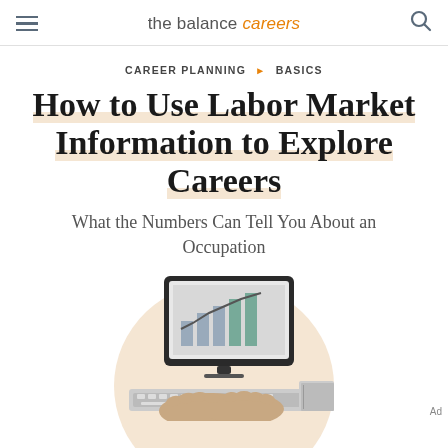the balance careers
CAREER PLANNING ▶ BASICS
How to Use Labor Market Information to Explore Careers
What the Numbers Can Tell You About an Occupation
[Figure (photo): Person's hands typing on a keyboard with a tablet/monitor showing graphs and charts in the background, set against a beige circular background]